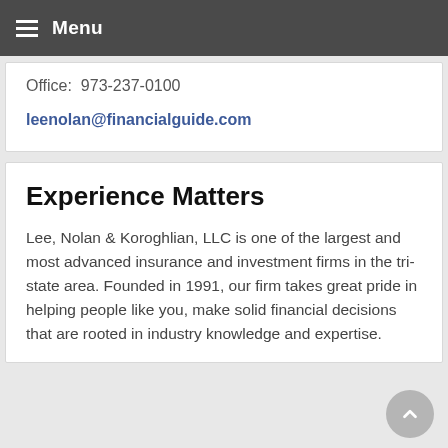Menu
Office:  973-237-0100
leenolan@financialguide.com
Experience Matters
Lee, Nolan & Koroghlian, LLC is one of the largest and most advanced insurance and investment firms in the tri-state area. Founded in 1991, our firm takes great pride in helping people like you, make solid financial decisions that are rooted in industry knowledge and expertise.